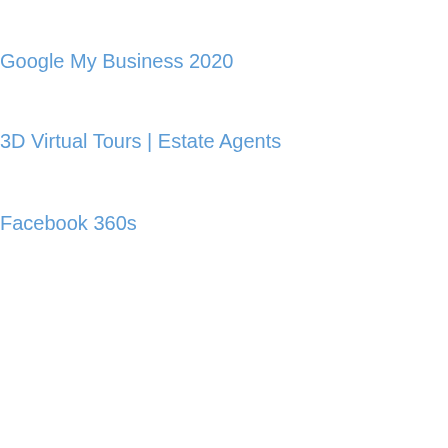Google My Business 2020
3D Virtual Tours | Estate Agents
Facebook 360s
[Figure (illustration): Email icon — an envelope with @ symbol and speed lines indicating fast sending, drawn in outline style]
features
Multiple e
Departm to send e
The plan
No trainin
For empl
[Figure (illustration): Briefcase icon drawn in dark grey/charcoal, solid filled, representing employment or business]